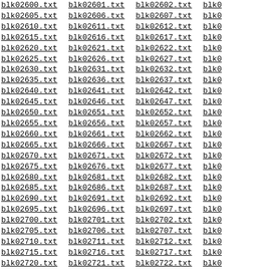blk02600.txt blk02601.txt blk02602.txt blk02603.txt blk02605.txt blk02606.txt blk02607.txt blk02608.txt blk02610.txt blk02611.txt blk02612.txt blk02613.txt blk02615.txt blk02616.txt blk02617.txt blk02618.txt blk02620.txt blk02621.txt blk02622.txt blk02623.txt blk02625.txt blk02626.txt blk02627.txt blk02628.txt blk02630.txt blk02631.txt blk02632.txt blk02633.txt blk02635.txt blk02636.txt blk02637.txt blk02638.txt blk02640.txt blk02641.txt blk02642.txt blk02643.txt blk02645.txt blk02646.txt blk02647.txt blk02648.txt blk02650.txt blk02651.txt blk02652.txt blk02653.txt blk02655.txt blk02656.txt blk02657.txt blk02658.txt blk02660.txt blk02661.txt blk02662.txt blk02663.txt blk02665.txt blk02666.txt blk02667.txt blk02668.txt blk02670.txt blk02671.txt blk02672.txt blk02673.txt blk02675.txt blk02676.txt blk02677.txt blk02678.txt blk02680.txt blk02681.txt blk02682.txt blk02683.txt blk02685.txt blk02686.txt blk02687.txt blk02688.txt blk02690.txt blk02691.txt blk02692.txt blk02693.txt blk02695.txt blk02696.txt blk02697.txt blk02698.txt blk02700.txt blk02701.txt blk02702.txt blk02703.txt blk02705.txt blk02706.txt blk02707.txt blk02708.txt blk02710.txt blk02711.txt blk02712.txt blk02713.txt blk02715.txt blk02716.txt blk02717.txt blk02718.txt blk02720.txt blk02721.txt blk02722.txt blk02723.txt